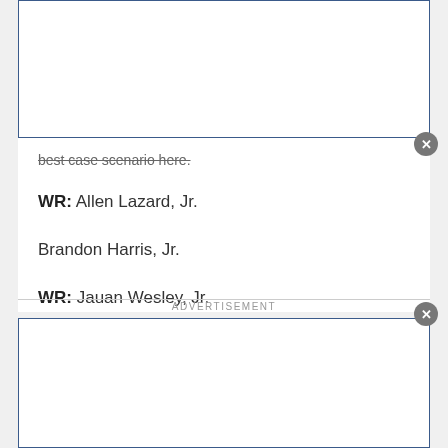best case scenario here.
WR: Allen Lazard, Jr.
Brandon Harris, Jr.
WR: Jauan Wesley, Jr.
Trever Ryen, Jr.
WR: Dondre Daley, Sr.
ADVERTISEMENT